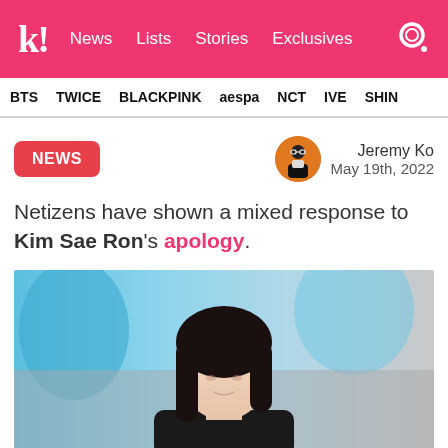k! News  Lists  Stories  Exclusives
BTS  TWICE  BLACKPINK  aespa  NCT  IVE  SHIN
NEWS
Jeremy Ko
May 19th, 2022
Netizens have shown a mixed response to Kim Sae Ron's apology.
[Figure (photo): Photo of Kim Sae Ron, a woman with dark hair, seen from the front, blurred colorful background]